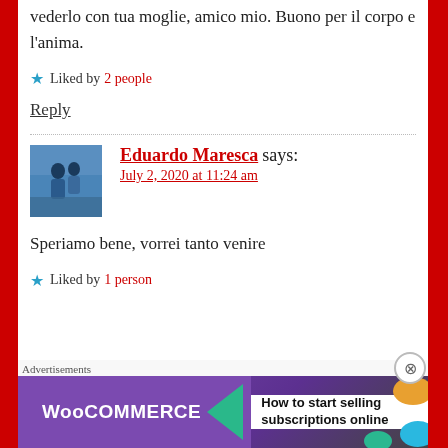vederlo con tua moglie, amico mio. Buono per il corpo e l’anima.
★ Liked by 2 people
Reply
Eduardo Maresca says:
July 2, 2020 at 11:24 am
Speriamo bene, vorrei tanto venire
★ Liked by 1 person
[Figure (other): WooCommerce advertisement banner: How to start selling subscriptions online]